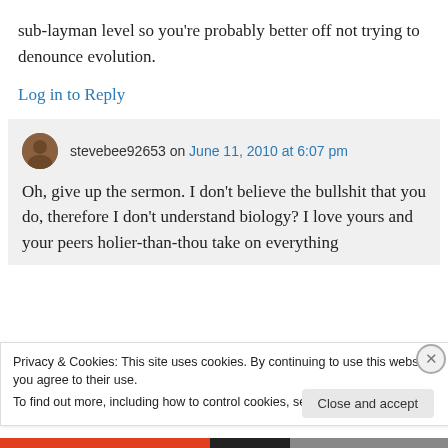sub-layman level so you're probably better off not trying to denounce evolution.
Log in to Reply
stevebee92653 on June 11, 2010 at 6:07 pm
Oh, give up the sermon. I don't believe the bullshit that you do, therefore I don't understand biology? I love yours and your peers holier-than-thou take on everything
Privacy & Cookies: This site uses cookies. By continuing to use this website, you agree to their use.
To find out more, including how to control cookies, see here: Cookie Policy